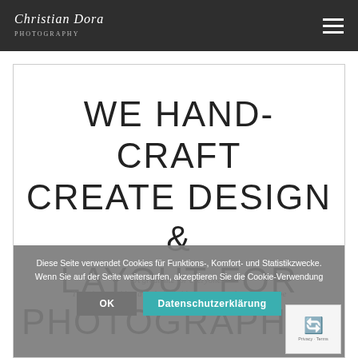Christian Dora Photography
WE HAND-CRAFT CREATE DESIGN & LAYOUT FOR PHOTOGRAPHER
A great site for everyone. There's something a little intimidating attempting to describe
Diese Seite verwendet Cookies für Funktions-, Komfort- und Statistikzwecke. Wenn Sie auf der Seite weitersurfen, akzeptieren Sie die Cookie-Verwendung
OK  Datenschutzerklärung